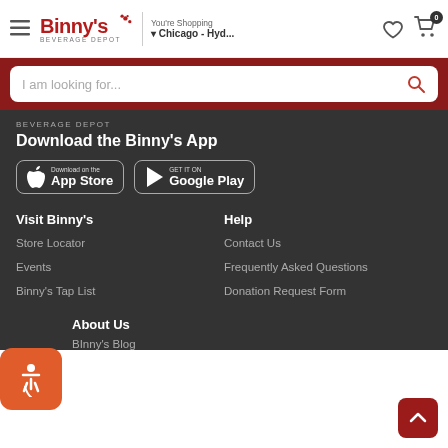Binny's Beverage Depot — You're Shopping Chicago - Hyd...
I am looking for...
BEVERAGE DEPOT
Download the Binny's App
[Figure (screenshot): App Store download button]
[Figure (screenshot): Google Play download button]
Visit Binny's
Store Locator
Events
Binny's Tap List
Help
Contact Us
Frequently Asked Questions
Donation Request Form
About Us
BInny's Blog